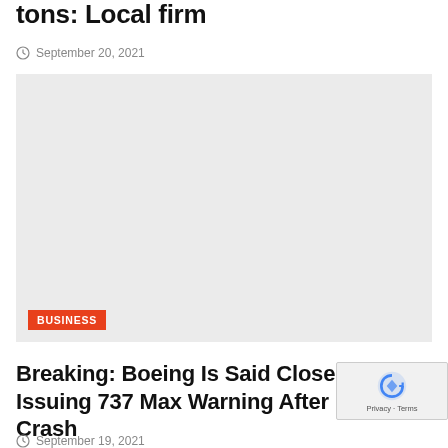tons: Local firm
September 20, 2021
[Figure (photo): Large light gray placeholder image area with a BUSINESS category badge in the lower left corner]
Breaking: Boeing Is Said Close To Issuing 737 Max Warning After Crash
September 19, 2021